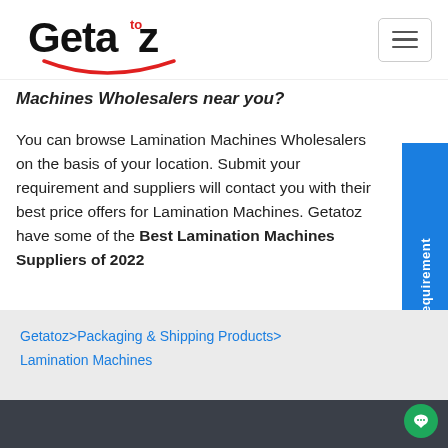[Figure (logo): Getatoz logo with stylized text and smile graphic]
Machines Wholesalers near you?
You can browse Lamination Machines Wholesalers on the basis of your location. Submit your requirement and suppliers will contact you with their best price offers for Lamination Machines. Getatoz have some of the Best Lamination Machines Suppliers of 2022
Getatoz>Packaging & Shipping Products>Lamination Machines